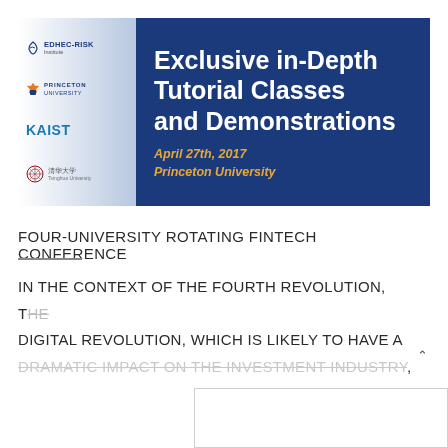[Figure (illustration): Conference banner with logos of EDHEC-Risk Institute, Princeton University, KAIST, and Tsinghua University on a blue-to-white gradient left side, and dark blue right side with title 'Exclusive in-Depth Tutorial Classes and Demonstrations', date April 27th, 2017, location Princeton University]
FOUR-UNIVERSITY ROTATING FINTECH CONFERENCE
IN THE CONTEXT OF THE FOURTH REVOLUTION, THE DIGITAL REVOLUTION, WHICH IS LIKELY TO HAVE A DRAMATIC IMPACT ON THE INVESTMENT INDUSTRY,